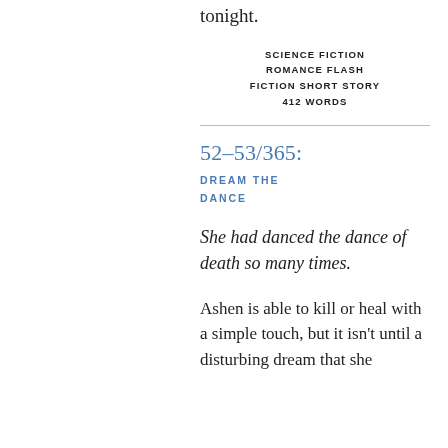tonight.
SCIENCE FICTION
ROMANCE FLASH
FICTION SHORT STORY
412 WORDS
52–53/365:
DREAM THE DANCE
She had danced the dance of death so many times.
Ashen is able to kill or heal with a simple touch, but it isn't until a disturbing dream that she